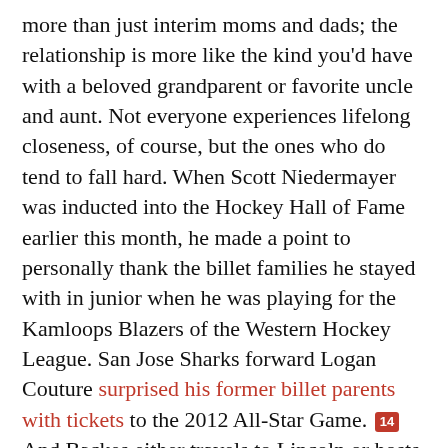more than just interim moms and dads; the relationship is more like the kind you'd have with a beloved grandparent or favorite uncle and aunt. Not everyone experiences lifelong closeness, of course, but the ones who do tend to fall hard. When Scott Niedermayer was inducted into the Hockey Hall of Fame earlier this month, he made a point to personally thank the billet families he stayed with in junior when he was playing for the Kamloops Blazers of the Western Hockey League. San Jose Sharks forward Logan Couture surprised his former billet parents with tickets to the 2012 All-Star Game. [14] And Backes either travels to Lincoln or hosts the Hruzas for some games in St. Louis every year.
“We also have phone calls to rekindle and reconnect and regroup,” Backes said. “They were, I think, instrumental in my growth, because I had a little bit of a leaping-off step between living at home with your parents for 16, 17 years